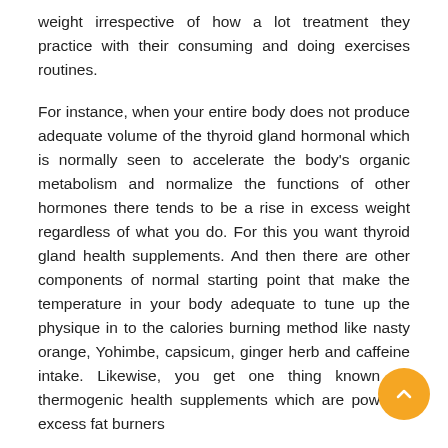weight irrespective of how a lot treatment they practice with their consuming and doing exercises routines.
For instance, when your entire body does not produce adequate volume of the thyroid gland hormonal which is normally seen to accelerate the body's organic metabolism and normalize the functions of other hormones there tends to be a rise in excess weight regardless of what you do. For this you want thyroid gland health supplements. And then there are other components of normal starting point that make the temperature in your body adequate to tune up the physique in to the calories burning method like nasty orange, Yohimbe, capsicum, ginger herb and caffeine intake. Likewise, you get one thing known as thermogenic health supplements which are powerful excess fat burners